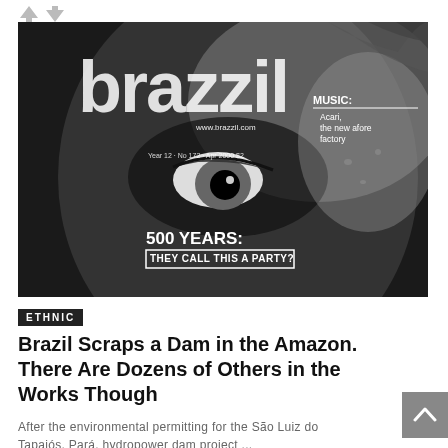[Figure (photo): Black and white magazine cover of 'brazzil' magazine showing a close-up of a person's eye and face. Text overlay reads: 'brazzil', 'www.brazzil.com', 'Year 12 · No 172 · Apr 2000 · $2', 'MUSIC: Acari, the new afore factory', '500 YEARS: THEY CALL THIS A PARTY?']
ETHNIC
Brazil Scraps a Dam in the Amazon. There Are Dozens of Others in the Works Though
After the environmental permitting for the São Luiz do Tapajós, Pará, hydropower dam project ...